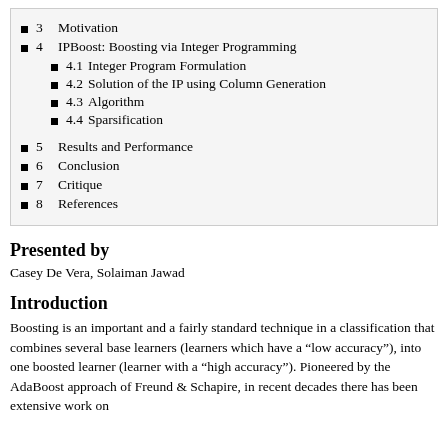3  Motivation
4  IPBoost: Boosting via Integer Programming
4.1  Integer Program Formulation
4.2  Solution of the IP using Column Generation
4.3  Algorithm
4.4  Sparsification
5  Results and Performance
6  Conclusion
7  Critique
8  References
Presented by
Casey De Vera, Solaiman Jawad
Introduction
Boosting is an important and a fairly standard technique in a classification that combines several base learners (learners which have a “low accuracy”), into one boosted learner (learner with a “high accuracy”). Pioneered by the AdaBoost approach of Freund & Schapire, in recent decades there has been extensive work on